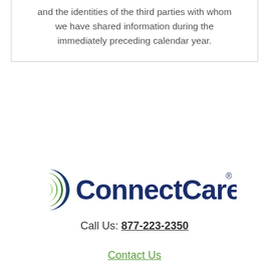and the identities of the third parties with whom we have shared information during the immediately preceding calendar year.
[Figure (logo): ConnectCare3 logo with green crescent/leaf icon and dark navy text]
Call Us: 877-223-2350
Contact Us